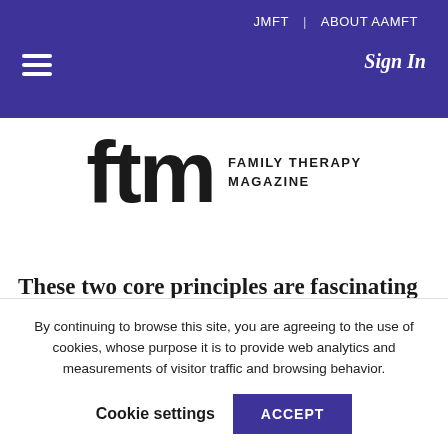JMFT | ABOUT AAMFT  Sign In
[Figure (logo): ftm Family Therapy Magazine logo with large bold 'ftm' letters and text 'FAMILY THERAPY MAGAZINE' to the right]
These two core principles are fascinating to me. I do not disagree with these principles at all–just the opposite–I find them to be a clear and succinct
By continuing to browse this site, you are agreeing to the use of cookies, whose purpose it is to provide web analytics and measurements of visitor traffic and browsing behavior.
Cookie settings  ACCEPT